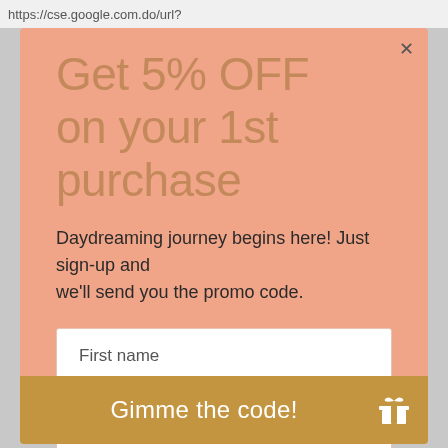https://cse.google.com.do/url?
Get 5% OFF on your 1st purchase
Daydreaming journey begins here! Just sign-up and we'll send you the promo code.
First name
Email address
Gimme the code!